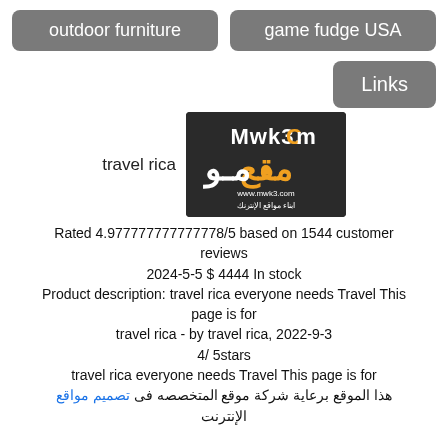outdoor furniture
game fudge USA
Links
[Figure (logo): Mwk3.com logo with Arabic text on dark background, website www.mwk3.com]
travel rica
Rated 4.977777777777778/5 based on 1544 customer reviews
2024-5-5 $ 4444 In stock
Product description: travel rica everyone needs Travel This page is for
travel rica - by travel rica, 2022-9-3
4/ 5stars
travel rica everyone needs Travel This page is for
هذا الموقع برعاية شركة موقع المتخصصه فى تصميم مواقع الإنترنت